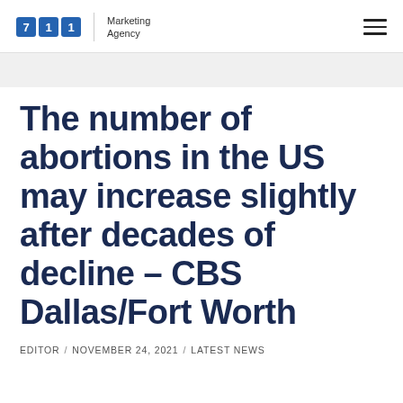711 Marketing Agency
The number of abortions in the US may increase slightly after decades of decline – CBS Dallas/Fort Worth
EDITOR / NOVEMBER 24, 2021 / LATEST NEWS